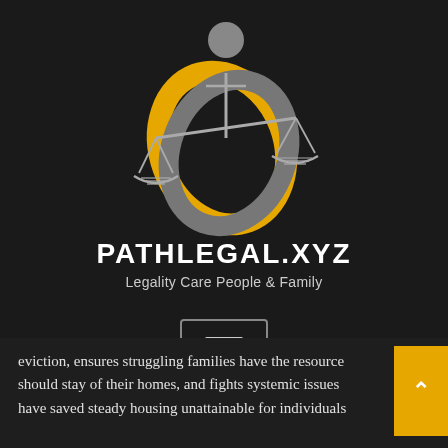[Figure (logo): PathLegal.xyz logo featuring scales of justice intertwined with two rings (one gold/yellow, one gray) and a stylized person figure at top, on dark background]
PATHLEGAL.XYZ
Legality Care People & Family
[Figure (other): Hamburger menu button icon (three horizontal lines) inside a rounded rectangle border]
eviction, ensures struggling families have the resource should stay of their homes, and fights systemic issues have saved steady housing unattainable for individuals